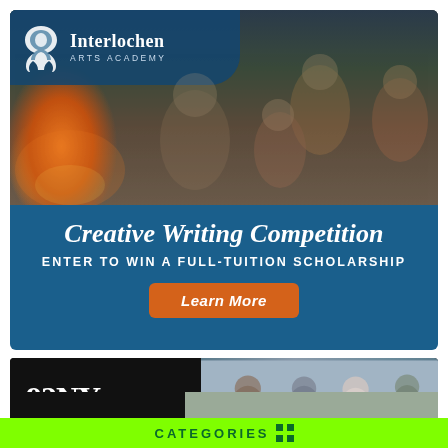[Figure (photo): Advertisement for Interlochen Arts Academy Creative Writing Competition. Top half shows a photo of four students sitting around a fireplace, reading and talking. Overlaid with logo of Interlochen Arts Academy. Bottom half shows dark blue background with text: 'Creative Writing Competition', 'ENTER TO WIN A FULL-TUITION SCHOLARSHIP', and an orange 'Learn More' button.]
[Figure (photo): Advertisement for 92NY showing logo '92NY' on black background on the left, and a photo of people in a discussion group on the right.]
CATEGORIES